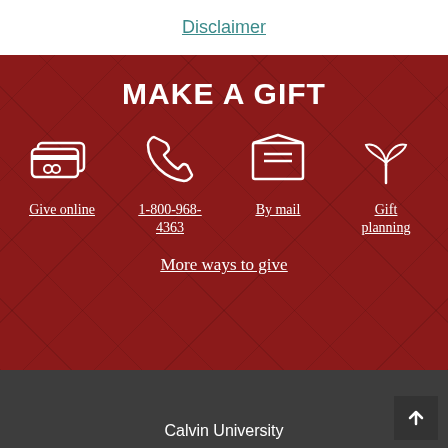Disclaimer
MAKE A GIFT
Give online
1-800-968-4363
By mail
Gift planning
More ways to give
Calvin University